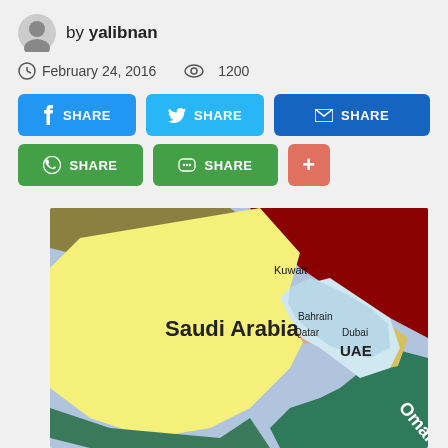by yalibnan
February 24, 2016   1200
[Figure (screenshot): Social share buttons: Facebook SHARE, Twitter SHARE, Email SHARE, WhatsApp SHARE, Line SHARE, and a + button]
[Figure (map): Map of the Middle East showing Saudi Arabia (yellow), UAE, Qatar, Bahrain, Kuwait, Oman, and surrounding countries in various colors]